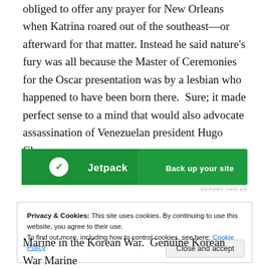obliged to offer any prayer for New Orleans when Katrina roared out of the southeast—or afterward for that matter. Instead he said nature's fury was all because the Master of Ceremonies for the Oscar presentation was by a lesbian who happened to have been born there.  Sure; it made perfect sense to a mind that would also advocate assassination of Venezuelan president Hugo Chavez.
[Figure (screenshot): Green Jetpack advertisement banner with logo and 'Back up your site' text]
REPORT THIS AD
Privacy & Cookies: This site uses cookies. By continuing to use this website, you agree to their use.
To find out more, including how to control cookies, see here: Cookie Policy
[Close and accept button]
Marine in the Korean War.  Genuine Korean War Marine